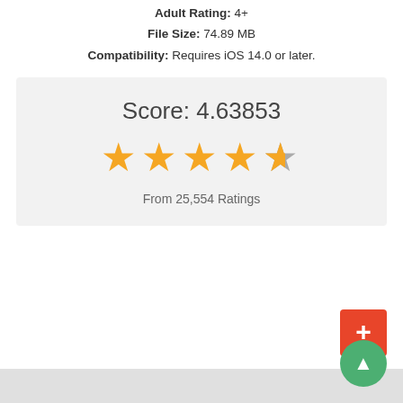Adult Rating: 4+
File Size: 74.89 MB
Compatibility: Requires iOS 14.0 or later.
[Figure (infographic): Rating score box showing Score: 4.63853 with 4.5 star rating and From 25,554 Ratings]
[Figure (other): Red plus button for adding]